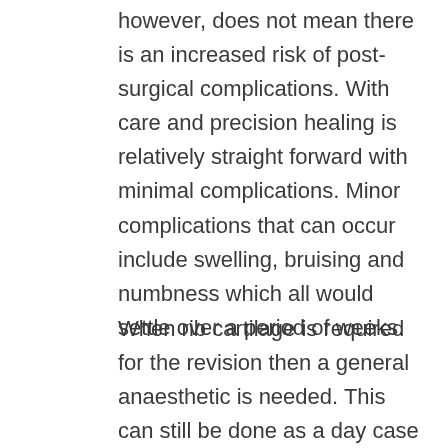however, does not mean there is an increased risk of post-surgical complications. With care and precision healing is relatively straight forward with minimal complications. Minor complications that can occur include swelling, bruising and numbness which all would settle over a period of weeks.
When rib cartilage is required for the revision then a general anaesthetic is needed. This can still be done as a day case procedure. The harvest of rib cartilage is extremely safe and the pati is mobile from the next day needing some